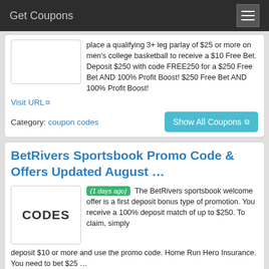Get Coupons
place a qualifying 3+ leg parlay of $25 or more on men's college basketball to receive a $10 Free Bet. Deposit $250 with code FREE250 for a $250 Free Bet AND 100% Profit Boost! $250 Free Bet AND 100% Profit Boost!
Visit URL
Category: coupon codes
Show All Coupons
BetRivers Sportsbook Promo Code & Offers Updated August ...
(1 days ago) The BetRivers sportsbook welcome offer is a first deposit bonus type of promotion. You receive a 100% deposit match of up to $250. To claim, simply deposit $10 or more and use the promo code. Home Run Hero Insurance. You need to bet $25 ...